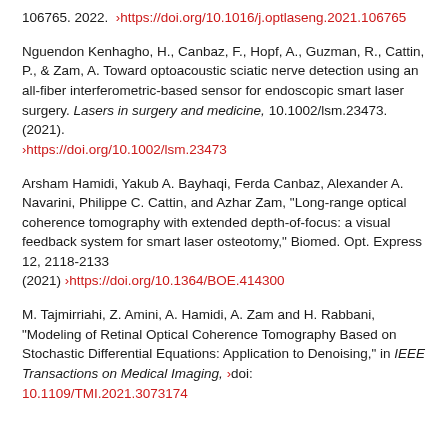106765. 2022. > https://doi.org/10.1016/j.optlaseng.2021.106765
Nguendon Kenhagho, H., Canbaz, F., Hopf, A., Guzman, R., Cattin, P., & Zam, A. Toward optoacoustic sciatic nerve detection using an all-fiber interferometric-based sensor for endoscopic smart laser surgery. Lasers in surgery and medicine, 10.1002/lsm.23473. (2021). > https://doi.org/10.1002/lsm.23473
Arsham Hamidi, Yakub A. Bayhaqi, Ferda Canbaz, Alexander A. Navarini, Philippe C. Cattin, and Azhar Zam, "Long-range optical coherence tomography with extended depth-of-focus: a visual feedback system for smart laser osteotomy," Biomed. Opt. Express 12, 2118-2133 (2021) > https://doi.org/10.1364/BOE.414300
M. Tajmirriahi, Z. Amini, A. Hamidi, A. Zam and H. Rabbani, "Modeling of Retinal Optical Coherence Tomography Based on Stochastic Differential Equations: Application to Denoising," in IEEE Transactions on Medical Imaging, > doi: 10.1109/TMI.2021.3073174